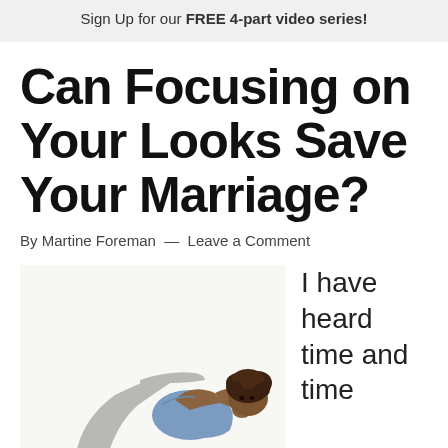Sign Up for our FREE 4-part video series!
Can Focusing on Your Looks Save Your Marriage?
By Martine Foreman — Leave a Comment
[Figure (photo): Woman lying on her back doing crunches/sit-ups, wearing a blue top and grey pants with black shoes, on a white background]
I have heard time and time